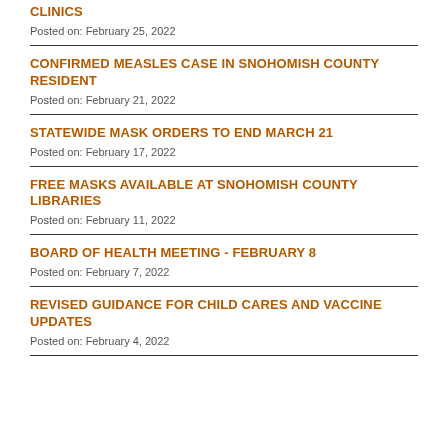CLINICS
Posted on: February 25, 2022
CONFIRMED MEASLES CASE IN SNOHOMISH COUNTY RESIDENT
Posted on: February 21, 2022
STATEWIDE MASK ORDERS TO END MARCH 21
Posted on: February 17, 2022
FREE MASKS AVAILABLE AT SNOHOMISH COUNTY LIBRARIES
Posted on: February 11, 2022
BOARD OF HEALTH MEETING - FEBRUARY 8
Posted on: February 7, 2022
REVISED GUIDANCE FOR CHILD CARES AND VACCINE UPDATES
Posted on: February 4, 2022